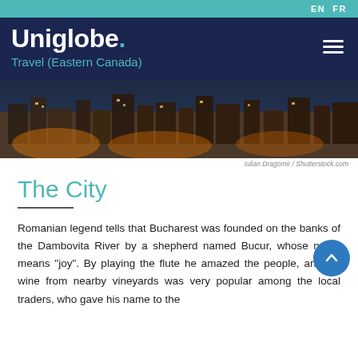EN  FR
Uniglobe. Travel (Eastern Canada)
[Figure (photo): Aerial/skyline nighttime view of Bucharest city with illuminated buildings and warm orange street lights]
Iulian Dragomir / Shutterstock.com
The City
Romanian legend tells that Bucharest was founded on the banks of the Dambovita River by a shepherd named Bucur, whose name means "joy". By playing the flute he amazed the people, and his wine from nearby vineyards was very popular among the local traders, who gave his name to the